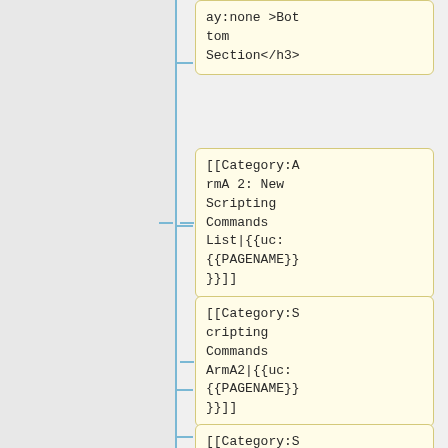ay:none >Bottom Section</h3>
[[Category:ArmA 2: New Scripting Commands List|{{uc:{{PAGENAME}}}}]]
[[Category:Scripting Commands ArmA2|{{uc:{{PAGENAME}}}}]]
[[Category:Scripting Commands Arma 3|{{uc: